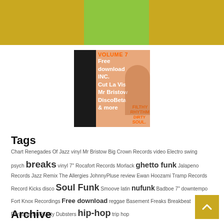[Figure (illustration): Gold/olive colored header bar with a green rectangle inset at top]
[Figure (illustration): Album art for 'Filthy Rhythm Dirty Soul Volume 7' featuring a woman with an afro on a peach background. Text reads: VOLUME 7, Free download INC. Cut La Vis, Mr Bristow, DiscoBeta & more]
Tags
Chart Renegades Of Jazz vinyl Mr Bristow Big Crown Records video Electro swing psych breaks vinyl 7" Rocafort Records Morlack ghetto funk Jalapeno Records Jazz Remix The Allergies JohnnyPluse review Ewan Hoozami Tramp Records Record Kicks disco Soul Funk Smoove latin nufunk Badboe 7" downtempo Fort Knox Recordings Free download reggae Basement Freaks Breakbeat Paradise BBP Dirty Dubsters hip-hop trip hop
Archive